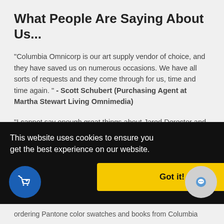What People Are Saying About Us...
“Columbia Omnicorp is our art supply vendor of choice, and they have saved us on numerous occasions. We have all sorts of requests and they come through for us, time and time again. ” - Scott Schubert (Purchasing Agent at Martha Stewart Living Omnimedia)
“I cannot say enough great things about Jared Derector and his team at Columbia Omni. After working with larger non-local supplies providers for decades, we transferred all of our studio supply needs to the friendly and capable team at [Columbia Omni. They always have what we need in stock and when they don’t, they get it to us very quickly. I manage a very large studio on average, and ordering Pantone color swatches and books from Columbia]
[Figure (screenshot): Cookie consent overlay banner with dark background, text 'This website uses cookies to ensure you get the best experience on our website.', a yellow 'Got it!' button, a blue shopping cart icon circle on the left, and a grey chat icon circle on the right.]
ordering Pantone color swatches and books from Columbia